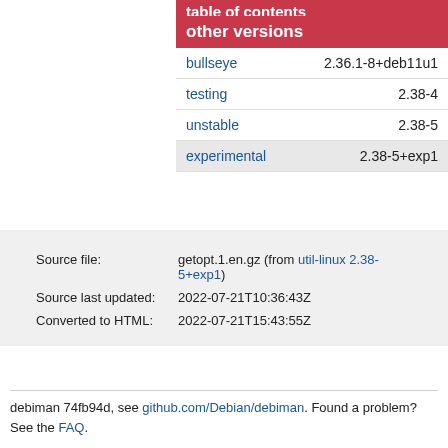table of contents
| other versions |  |
| --- | --- |
| bullseye | 2.36.1-8+deb11u1 |
| testing | 2.38-4 |
| unstable | 2.38-5 |
| experimental | 2.38-5+exp1 |
|  |  |
| --- | --- |
| Source file: | getopt.1.en.gz (from util-linux 2.38-5+exp1) |
| Source last updated: | 2022-07-21T10:36:43Z |
| Converted to HTML: | 2022-07-21T15:43:55Z |
debiman 74fb94d, see github.com/Debian/debiman. Found a problem? See the FAQ.